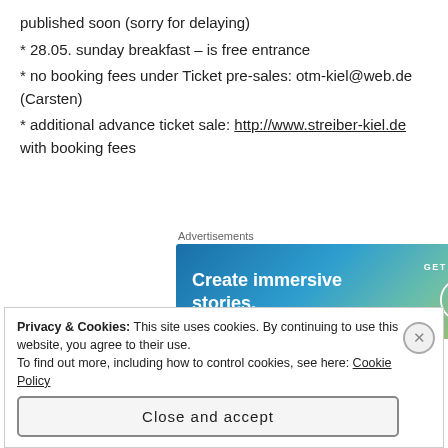published soon (sorry for delaying)
* 28.05. sunday breakfast – is free entrance
* no booking fees under Ticket pre-sales: otm-kiel@web.de (Carsten)
* additional advance ticket sale: http://www.streiber-kiel.de with booking fees
[Figure (other): Advertisement banner for WordPress: 'Create immersive stories. GET THE APP' with WordPress logo]
Privacy & Cookies: This site uses cookies. By continuing to use this website, you agree to their use. To find out more, including how to control cookies, see here: Cookie Policy
Close and accept